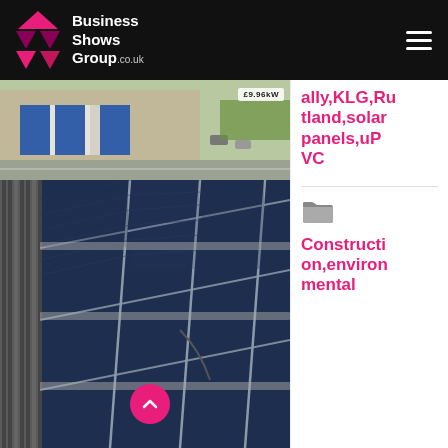Business Shows Group .co.uk
[Figure (photo): Aerial view of a commercial building/warehouse with blue roof panels and cars, partial view with price tag showing £9.96kW]
[Figure (photo): Close-up view of solar panels installed on a metal roof, angled shot showing photovoltaic panel grid with mounting rails]
ally,KLG,Rutland,solar panels,uPVC
[Figure (other): Folder icon in grey]
Construction,environmental